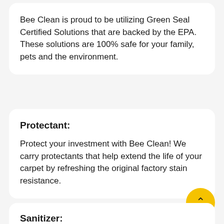Bee Clean is proud to be utilizing Green Seal Certified Solutions that are backed by the EPA. These solutions are 100% safe for your family, pets and the environment.
Protectant:
Protect your investment with Bee Clean! We carry protectants that help extend the life of your carpet by refreshing the original factory stain resistance.
Sanitizer: